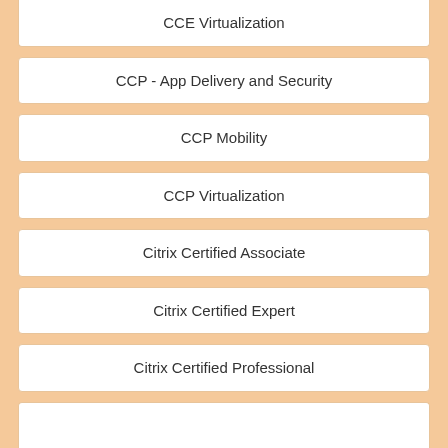CCE Virtualization
CCP - App Delivery and Security
CCP Mobility
CCP Virtualization
Citrix Certified Associate
Citrix Certified Expert
Citrix Certified Professional